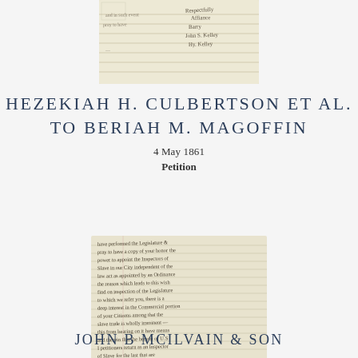[Figure (photo): Scanned handwritten manuscript document, top portion showing cursive writing with signatures visible at right side]
HEZEKIAH H. CULBERTSON ET AL.
TO BERIAH M. MAGOFFIN
4 May 1861
Petition
[Figure (photo): Scanned handwritten manuscript document, lower portion showing dense cursive handwriting across full page]
JOHN B MCILVAIN & SON